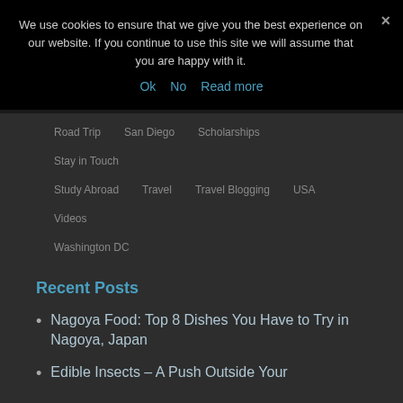We use cookies to ensure that we give you the best experience on our website. If you continue to use this site we will assume that you are happy with it.
Ok  No  Read more
Road Trip
San Diego
Scholarships
Stay in Touch
Study Abroad
Travel
Travel Blogging
USA
Videos
Washington DC
Recent Posts
Nagoya Food: Top 8 Dishes You Have to Try in Nagoya, Japan
Edible Insects – A Push Outside Your